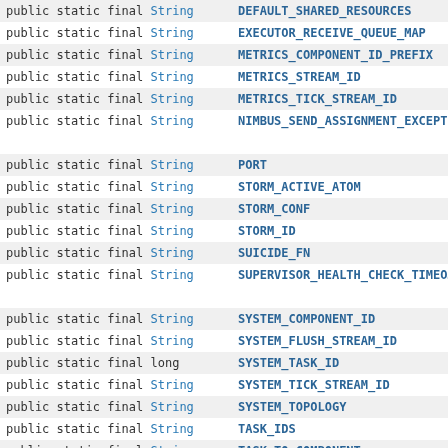| Modifiers | Field |
| --- | --- |
| public static final String | DEFAULT_SHARED_RESOURCES |
| public static final String | EXECUTOR_RECEIVE_QUEUE_MAP |
| public static final String | METRICS_COMPONENT_ID_PREFIX |
| public static final String | METRICS_STREAM_ID |
| public static final String | METRICS_TICK_STREAM_ID |
| public static final String | NIMBUS_SEND_ASSIGNMENT_EXCEPTI… |
| public static final String | PORT |
| public static final String | STORM_ACTIVE_ATOM |
| public static final String | STORM_CONF |
| public static final String | STORM_ID |
| public static final String | SUICIDE_FN |
| public static final String | SUPERVISOR_HEALTH_CHECK_TIMEO… |
| public static final String | SYSTEM_COMPONENT_ID |
| public static final String | SYSTEM_FLUSH_STREAM_ID |
| public static final long | SYSTEM_TASK_ID |
| public static final String | SYSTEM_TICK_STREAM_ID |
| public static final String | SYSTEM_TOPOLOGY |
| public static final String | TASK_IDS |
| public static final String | TASK_TO_COMPONENT |